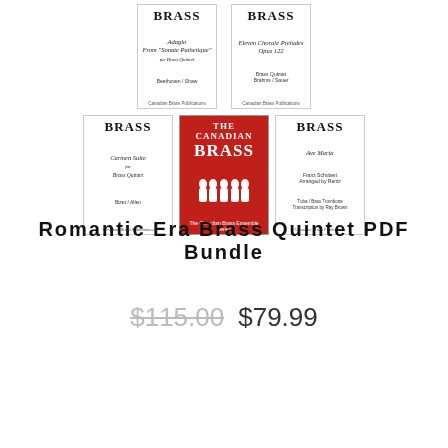[Figure (photo): Product image showing a collage of five Canadian Brass sheet music book covers arranged in two rows. Top row: 'Adagio from Sonate Pathetique' and 'Eleven Chorale Preludes Opus 122'. Bottom row: 'Carmen Suite', a red Canadian Brass ensemble series book, and 'Ave Maria'.]
Romantic Era Brass Quintet PDF Bundle
$115.00  $79.99